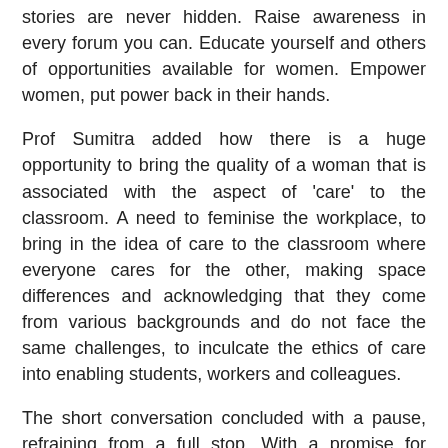stories are never hidden. Raise awareness in every forum you can. Educate yourself and others of opportunities available for women. Empower women, put power back in their hands.
Prof Sumitra added how there is a huge opportunity to bring the quality of a woman that is associated with the aspect of 'care' to the classroom. A need to feminise the workplace, to bring in the idea of care to the classroom where everyone cares for the other, making space differences and acknowledging that they come from various backgrounds and do not face the same challenges, to inculcate the ethics of care into enabling students, workers and colleagues.
The short conversation concluded with a pause, refraining from a full stop. With a promise for future collaborations, exchange of novel ideas and building of continuous bridges.
Please click here to view the engaging dialogue